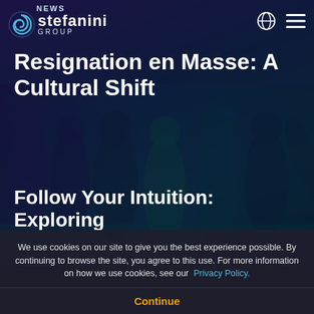NEWS
[Figure (logo): Stefanini Group logo with swirl icon, white text on dark background]
Resignation en Masse: A Cultural Shift
[Figure (photo): Dark-toned group photo of diverse people, heavily overlaid with dark blue/purple gradient]
ARTICLE
Follow Your Intuition: Exploring
We use cookies on our site to give you the best experience possible. By continuing to browse the site, you agree to this use. For more information on how we use cookies, see our Privacy Policy.
Continue